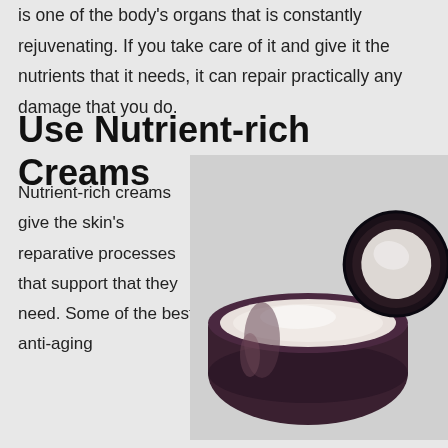is one of the body's organs that is constantly rejuvenating. If you take care of it and give it the nutrients that it needs, it can repair practically any damage that you do.
Use Nutrient-rich Creams
Nutrient-rich creams give the skin's reparative processes that support that they need. Some of the best anti-aging
[Figure (photo): An open dark amber/purple glass cream jar with white cream inside, with the lid leaning against it, on a gray background.]